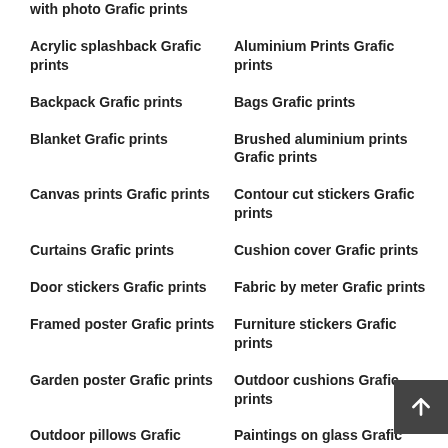with photo Grafic prints
Acrylic splashback Grafic prints
Aluminium Prints Grafic prints
Backpack Grafic prints
Bags Grafic prints
Blanket Grafic prints
Brushed aluminium prints Grafic prints
Canvas prints Grafic prints
Contour cut stickers Grafic prints
Curtains Grafic prints
Cushion cover Grafic prints
Door stickers Grafic prints
Fabric by meter Grafic prints
Framed poster Grafic prints
Furniture stickers Grafic prints
Garden poster Grafic prints
Outdoor cushions Grafic prints
Outdoor pillows Grafic prints
Paintings on glass Grafic prints
Peel and stick wall murals
Poster Grafic prints